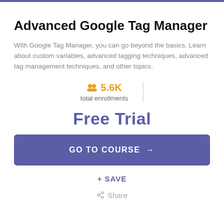Advanced Google Tag Manager
With Google Tag Manager, you can go beyond the basics. Learn about custom variables, advanced tagging techniques, advanced tag management techniques, and other topics.
5.6K total enrollments
Free Trial
GO TO COURSE →
+ SAVE
Share